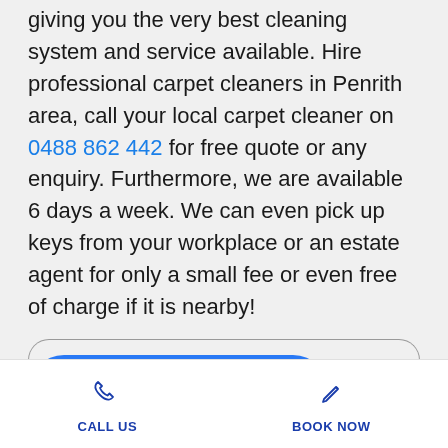giving you the very best cleaning system and service available. Hire professional carpet cleaners in Penrith area, call your local carpet cleaner on 0488 862 442 for free quote or any enquiry. Furthermore, we are available 6 days a week. We can even pick up keys from your workplace or an estate agent for only a small fee or even free of charge if it is nearby!
[Figure (other): Blue rounded button with white text reading 'Book us today']
CALL US   BOOK NOW